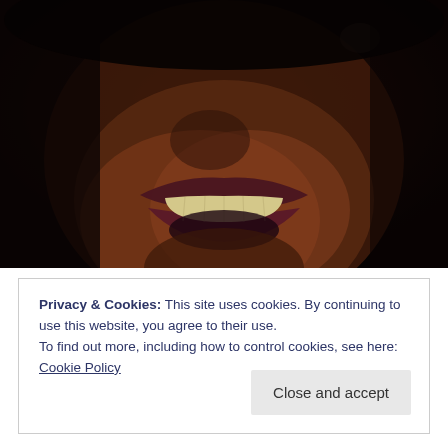[Figure (photo): Close-up photograph of a person's face with mouth open, showing teeth, dark skin, dark lipstick, dark background.]
Privacy & Cookies: This site uses cookies. By continuing to use this website, you agree to their use.
To find out more, including how to control cookies, see here: Cookie Policy
Close and accept